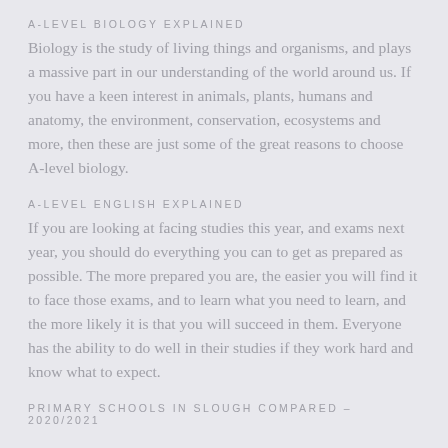A-LEVEL BIOLOGY EXPLAINED
Biology is the study of living things and organisms, and plays a massive part in our understanding of the world around us. If you have a keen interest in animals, plants, humans and anatomy, the environment, conservation, ecosystems and more, then these are just some of the great reasons to choose A-level biology.
A-LEVEL ENGLISH EXPLAINED
If you are looking at facing studies this year, and exams next year, you should do everything you can to get as prepared as possible. The more prepared you are, the easier you will find it to face those exams, and to learn what you need to learn, and the more likely it is that you will succeed in them. Everyone has the ability to do well in their studies if they work hard and know what to expect.
PRIMARY SCHOOLS IN SLOUGH COMPARED – 2020/2021